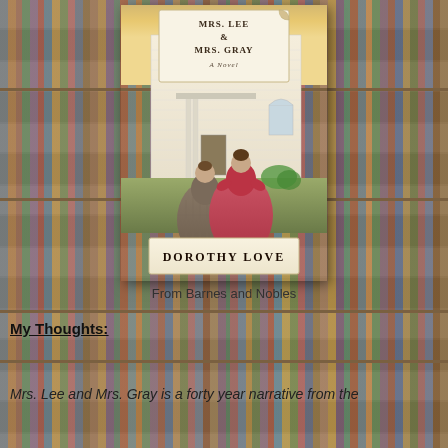[Figure (illustration): Book cover of 'Mrs. Lee & Mrs. Gray: A Novel' by Dorothy Love. Two women in period dresses (one gray/plaid, one red/pink) stand with backs to viewer facing a white building. A title box at top reads 'Mrs. Lee & Mrs. Gray / A Novel' and an author box at bottom reads 'Dorothy Love'. The background shows bookshelves.]
From Barnes and Nobles
My Thoughts:
Mrs. Lee and Mrs. Gray is a forty year narrative from the